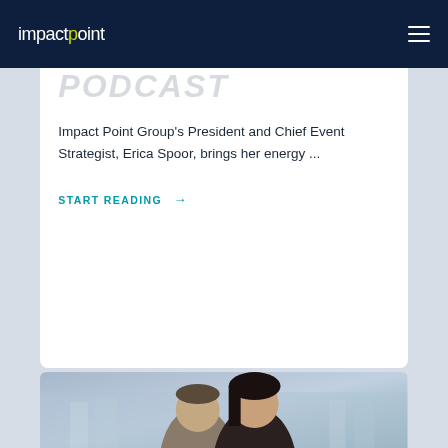impactpoint
PODCAST
Impact Point Group's President and Chief Event Strategist, Erica Spoor, brings her energy ...
START READING →
[Figure (photo): Two people, a man and a woman, shown from shoulders up against a blurred office background]